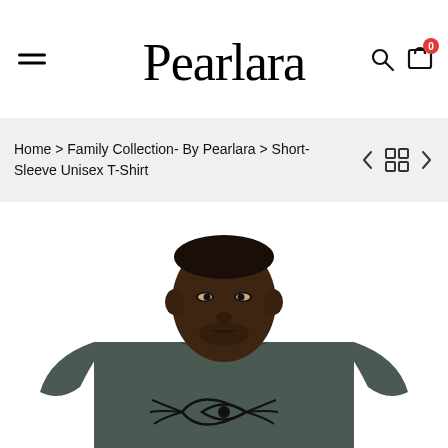[Figure (logo): Pearlara cursive script logo in the center of the header navigation bar]
Home > Family Collection- By Pearlara > Short-Sleeve Unisex T-Shirt
[Figure (photo): Man wearing a dark grey heather short-sleeve unisex t-shirt with a graphic print, viewed from a three-quarter angle looking to the right]